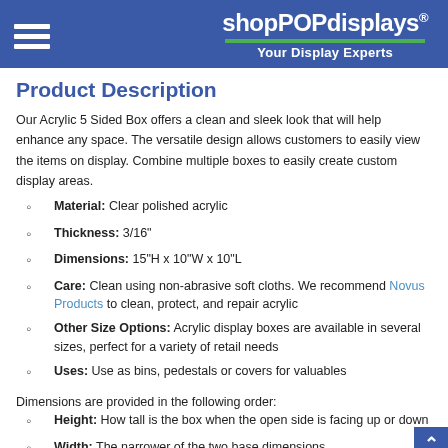shopPOPdisplays® Your Display Experts
Product Description
Our Acrylic 5 Sided Box offers a clean and sleek look that will help enhance any space. The versatile design allows customers to easily view the items on display. Combine multiple boxes to easily create custom display areas.
Material: Clear polished acrylic
Thickness: 3/16"
Dimensions: 15"H x 10"W x 10"L
Care: Clean using non-abrasive soft cloths. We recommend Novus Products to clean, protect, and repair acrylic
Other Size Options: Acrylic display boxes are available in several sizes, perfect for a variety of retail needs
Uses: Use as bins, pedestals or covers for valuables
Dimensions are provided in the following order:
Height: How tall is the box when the open side is facing up or down
Width: The narrower of the two base dimensions